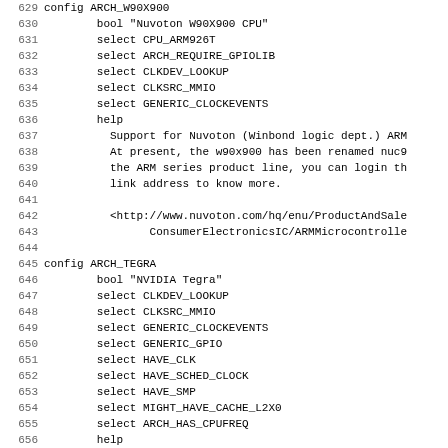Source code listing lines 629-661, showing Linux kernel Kconfig entries for ARCH_W90X900, ARCH_TEGRA, and ARCH_PICOXCELL